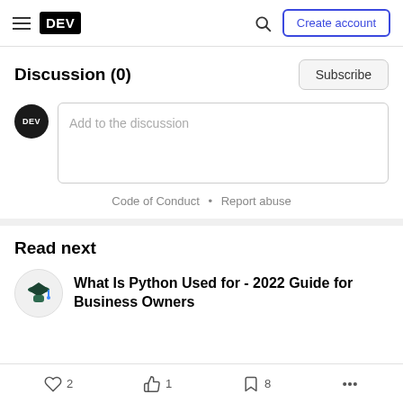DEV — Create account
Discussion (0)
Subscribe
Add to the discussion
Code of Conduct • Report abuse
Read next
What Is Python Used for - 2022 Guide for Business Owners
2  1  8  ...